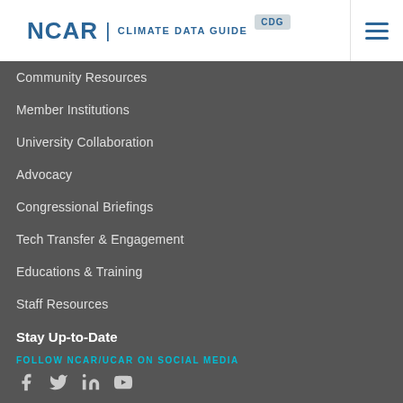NCAR | CLIMATE DATA GUIDE CDG
Community Resources
Member Institutions
University Collaboration
Advocacy
Congressional Briefings
Tech Transfer & Engagement
Educations & Training
Staff Resources
Stay Up-to-Date
FOLLOW NCAR/UCAR ON SOCIAL MEDIA